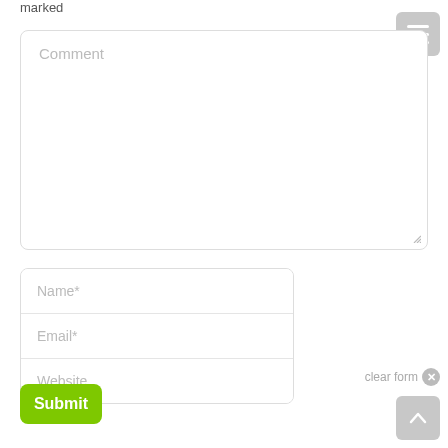marked
[Figure (screenshot): Comment textarea with placeholder text 'Comment' and resize handle]
[Figure (screenshot): Form fields box with Name*, Email*, and Website input rows]
[Figure (screenshot): Green Submit button]
clear form
[Figure (screenshot): Gray scroll-to-top button with upward arrow]